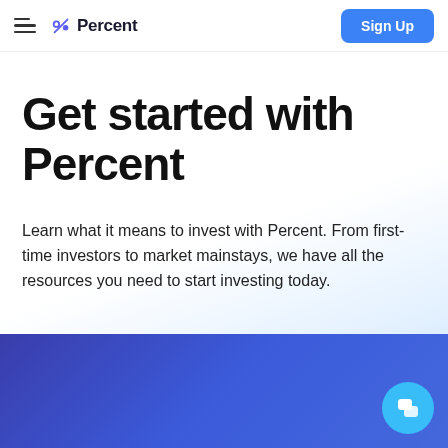Percent — Sign Up
Get started with Percent
Learn what it means to invest with Percent. From first-time investors to market mainstays, we have all the resources you need to start investing today.